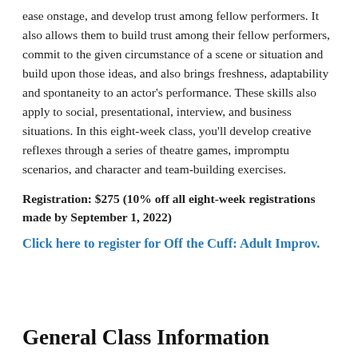ease onstage, and develop trust among fellow performers. It also allows them to build trust among their fellow performers, commit to the given circumstance of a scene or situation and build upon those ideas, and also brings freshness, adaptability and spontaneity to an actor's performance. These skills also apply to social, presentational, interview, and business situations. In this eight-week class, you'll develop creative reflexes through a series of theatre games, impromptu scenarios, and character and team-building exercises.
Registration: $275 (10% off all eight-week registrations made by September 1, 2022)
Click here to register for Off the Cuff: Adult Improv.
General Class Information